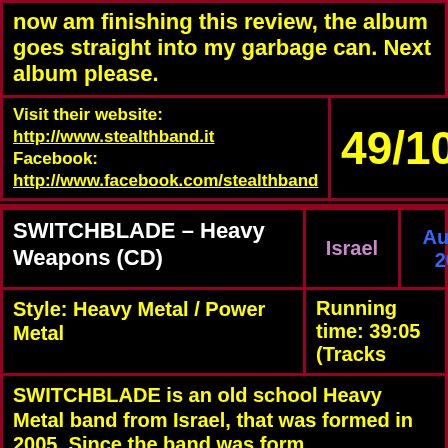now am finishing this review, the album goes straight into my garbage can. Next album please.
Visit their website: http://www.stealthband.it Facebook: http://www.facebook.com/stealthband
49/100
| Album | Country | Date | Reviewer |
| --- | --- | --- | --- |
| SWITCHBLADE – Heavy Weapons (CD) | Israel | August 2014 | Ad van O |
| Style | Running time |
| --- | --- |
| Style: Heavy Metal / Power Metal | Running time: 39:05 (Tracks |
SWITCHBLADE is an old school Heavy Metal band from Israel, that was formed in 2005. Since the band was formed, SWITCHBLADE did have several line-up changes, and in 2011, the band released their first digital single "Endless War". Within a year the band released their second digital single "Metalista". Now in front of me, I have the band's debut album "Heavy Weapons", which was released in November of 2013 on Killer Metal Records. The line-up of SWITCHBLADE on this album exists of Lior "Steinmetal" Stein (vocals), Federico "FedeRock" Taich (guitar), Sascha Latman (bass) and Moshe "Moshpit" Sabach (drums). We the band plays traditional 80's Heavy Metal & Power Metal